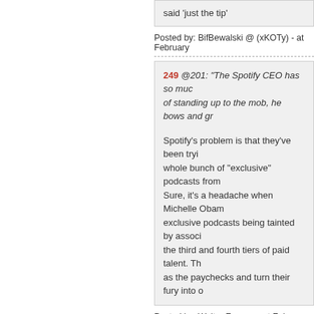said 'just the tip'
Posted by: BifBewalski @ (xKOTy) - at February
249 @201: "The Spotify CEO has so much... of standing up to the mob, he bows and gr...
Spotify's problem is that they've been tryi... whole bunch of "exclusive" podcasts from... Sure, it's a headache when Michelle Obam... exclusive podcasts being tainted by associ... the third and fourth tiers of paid talent. Th... as the paychecks and turn their fury into o...
Posted by: Walter Freeman at February 07, 2022
250 In 76 I walked out to I 70 and hitchhi... but stayed a virgin.
----------
Do you remember a Chevy van with some... that was me.
Posted by: Cicero (@cicero43) at February 07, 2...